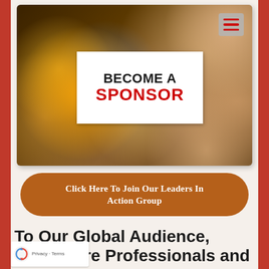[Figure (photo): A hand holding a white card that reads 'BECOME A SPONSOR' against a bokeh/blurred colorful background with orange, yellow, and blue light circles. A hamburger menu icon appears in the top-right corner.]
Click Here To Join Our Leaders In Action Group
To Our Global Audience, Healthcare Professionals and